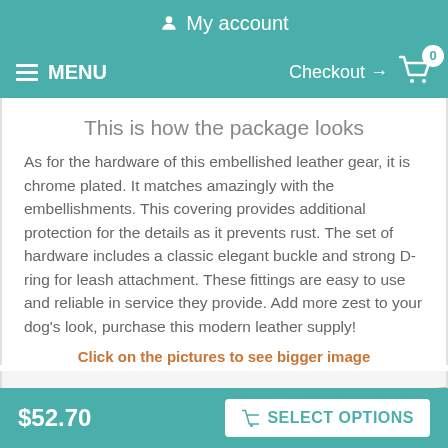My account
MENU  Checkout → 0
This is how the package looks
As for the hardware of this embellished leather gear, it is chrome plated. It matches amazingly with the embellishments. This covering provides additional protection for the details as it prevents rust. The set of hardware includes a classic elegant buckle and strong D-ring for leash attachment. These fittings are easy to use and reliable in service they provide. Add more zest to your dog's look, purchase this modern leather supply!
Click on the pictures to see bigger image
[Figure (photo): Partial view of a tan/beige leather dog collar product]
$52.70   SELECT OPTIONS